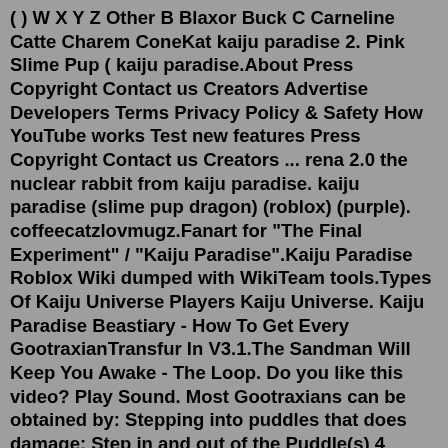( ) W X Y Z Other B Blaxor Buck C Carneline Catte Charem ConeKat kaiju paradise 2. Pink Slime Pup ( kaiju paradise.About Press Copyright Contact us Creators Advertise Developers Terms Privacy Policy & Safety How YouTube works Test new features Press Copyright Contact us Creators ... rena 2.0 the nuclear rabbit from kaiju paradise. kaiju paradise (slime pup dragon) (roblox) (purple). coffeecatzlovmugz.Fanart for "The Final Experiment" / "Kaiju Paradise".Kaiju Paradise Roblox Wiki dumped with WikiTeam tools.Types Of Kaiju Universe Players Kaiju Universe. Kaiju Paradise Beastiary - How To Get Every GootraxianTransfur In V3.1.The Sandman Will Keep You Awake - The Loop. Do you like this video? Play Sound. Most Gootraxians can be obtained by: Stepping into puddles that does damage: Step in and out of the Puddle(s) 4 times. Stepping into crystal spike or any kind of trap that can transform you instantly.Read Lucky Paradise - One very lucky morning, Ho-in accidentally bumps into Chunwoo on